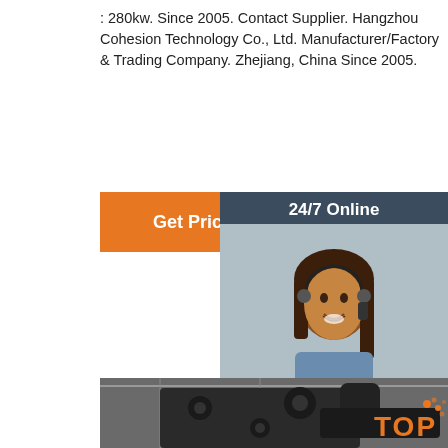: 280kw. Since 2005. Contact Supplier. Hangzhou Cohesion Technology Co., Ltd. Manufacturer/Factory & Trading Company. Zhejiang, China Since 2005.
[Figure (other): Orange 'Get Price' button]
[Figure (other): 24/7 Online chat widget with customer service photo, 'Click here for free chat!' text, and orange QUOTATION button]
[Figure (photo): Industrial machinery photo: large dark metal gear reducer or industrial equipment on a rail in a factory setting.]
[Figure (logo): TOP badge with orange dots in bottom-right corner]